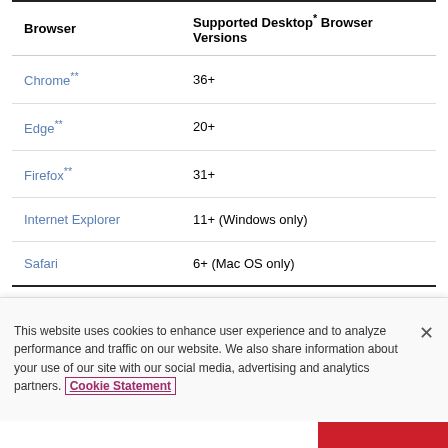| Browser | Supported Desktop* Browser Versions |
| --- | --- |
| Chrome** | 36+ |
| Edge** | 20+ |
| Firefox** | 31+ |
| Internet Explorer | 11+ (Windows only) |
| Safari | 6+ (Mac OS only) |
* Mobile app versions of these browsers aren't supported at this time, although users may have
This website uses cookies to enhance user experience and to analyze performance and traffic on our website. We also share information about your use of our site with our social media, advertising and analytics partners. Cookie Statement